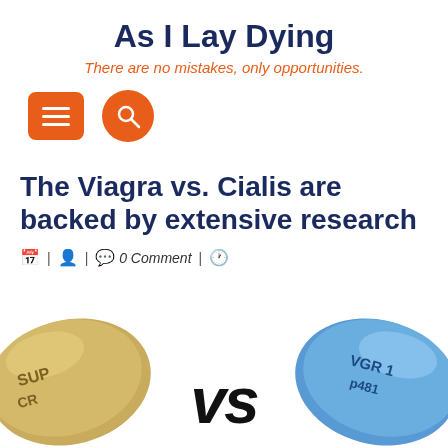As I Lay Dying
There are no mistakes, only opportunities.
[Figure (infographic): Orange rounded-rectangle hamburger menu button and orange circle search button navigation icons]
The Viagra vs. Cialis are backed by extensive research
📅 | 👤 | 💬 0 Comment | 🕐
[Figure (photo): A gold heart-shaped pill on the left labeled SUPR/CR, and a blue heart-shaped pill on the right labeled VGR / p481, with large VS text in the center between them]